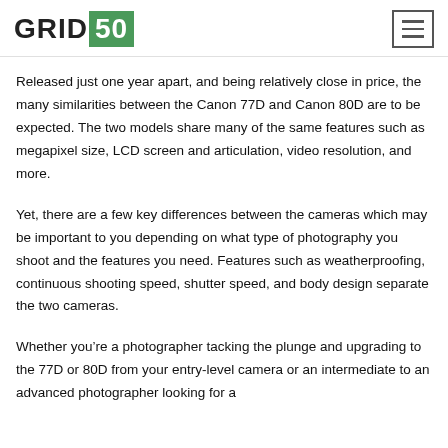GRID50
Released just one year apart, and being relatively close in price, the many similarities between the Canon 77D and Canon 80D are to be expected. The two models share many of the same features such as megapixel size, LCD screen and articulation, video resolution, and more.
Yet, there are a few key differences between the cameras which may be important to you depending on what type of photography you shoot and the features you need. Features such as weatherproofing, continuous shooting speed, shutter speed, and body design separate the two cameras.
Whether you're a photographer tacking the plunge and upgrading to the 77D or 80D from your entry-level camera or an intermediate to an advanced photographer looking for a